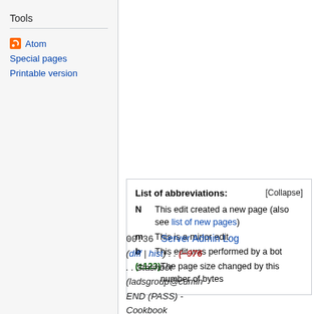Tools
Atom
Special pages
Printable version
| N | This edit created a new page (also see list of new pages) |
| m | This is a minor edit |
| b | This edit was performed by a bot |
| (±123) | The page size changed by this number of bytes |
00:36  Server Admin Log
(diff | hist) . . (−976) . . Stashbot (ladsgroup@cumin... END (PASS) - Cookbook sre.hosts.downtime (exit_code=0) for 1 0:00:00 on